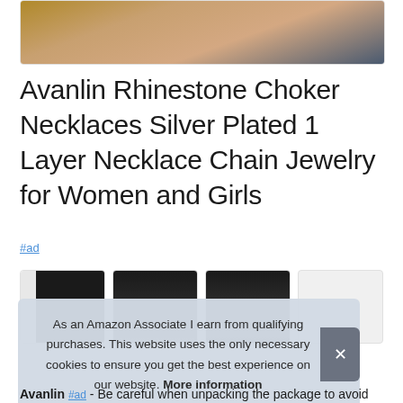[Figure (photo): Partial product image showing a tan/brown item against dark background, cropped at top]
Avanlin Rhinestone Choker Necklaces Silver Plated 1 Layer Necklace Chain Jewelry for Women and Girls
#ad
[Figure (photo): Four thumbnail product images showing women wearing necklaces]
As an Amazon Associate I earn from qualifying purchases. This website uses the only necessary cookies to ensure you get the best experience on our website. More information
Avanlin #ad - Be careful when unpacking the package to avoid